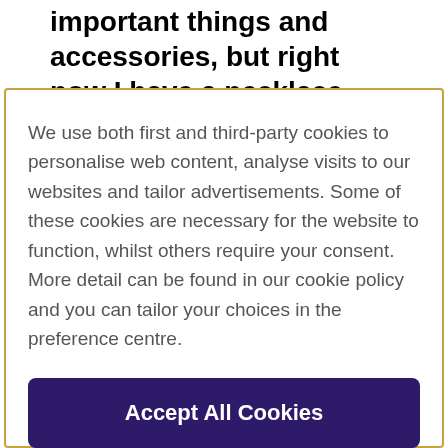important things and accessories, but right now I have a necklace that I love, it was a gift from me to me.
We use both first and third-party cookies to personalise web content, analyse visits to our websites and tailor advertisements. Some of these cookies are necessary for the website to function, whilst others require your consent. More detail can be found in our cookie policy and you can tailor your choices in the preference centre.
Accept All Cookies
Cookies Settings